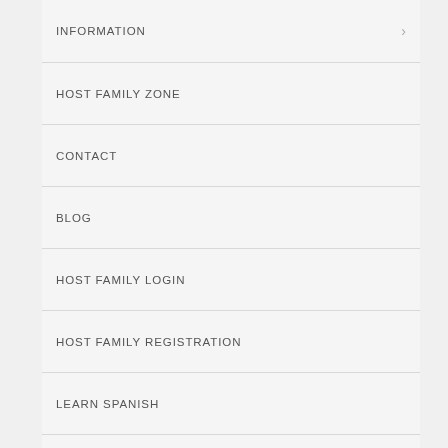INFORMATION
HOST FAMILY ZONE
CONTACT
BLOG
HOST FAMILY LOGIN
HOST FAMILY REGISTRATION
LEARN SPANISH
FUN
[Figure (screenshot): Image placeholder with small image icon at bottom of page]